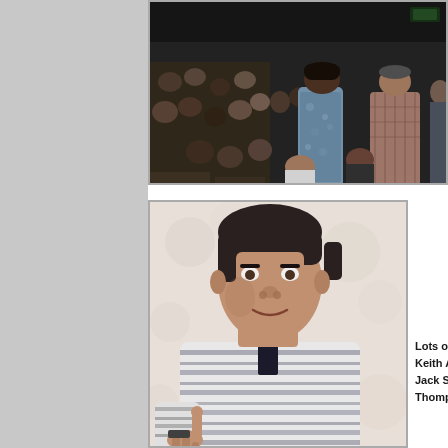[Figure (photo): Crowd scene in a large hall or conference room, many people milling about, one person in a blue floral shirt prominent in center, another in a plaid shirt to the right]
[Figure (photo): Man in a striped shirt giving a thumbs up gesture, looking at the camera, taken at an indoor event]
Lots of friends... Keith Alverse, Jack Soden, Thompson..